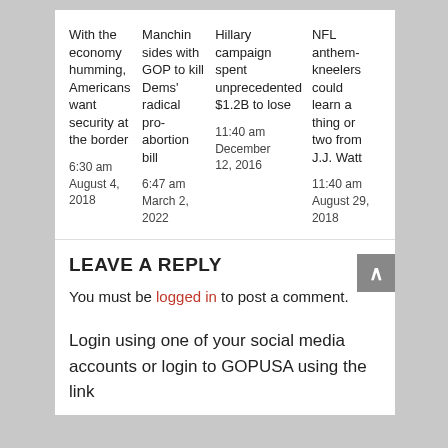With the economy humming, Americans want security at the border
6:30 am August 4, 2018
Manchin sides with GOP to kill Dems' radical pro-abortion bill
6:47 am March 2, 2022
Hillary campaign spent unprecedented $1.2B to lose
11:40 am December 12, 2016
NFL anthem-kneelers could learn a thing or two from J.J. Watt
11:40 am August 29, 2018
LEAVE A REPLY
You must be logged in to post a comment.
Login using one of your social media accounts or login to GOPUSA using the link